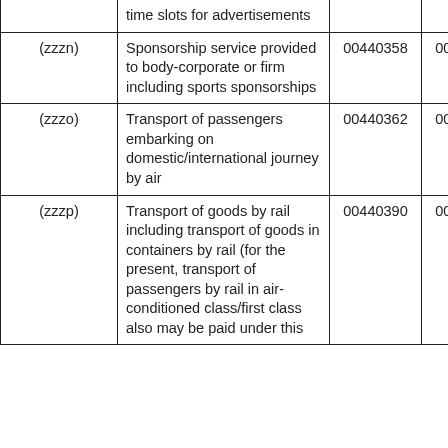|  | Description | Col3 | Col4 | Col5 |
| --- | --- | --- | --- | --- |
|  | time slots for advertisements |  |  |  |
| (zzzn) | Sponsorship service provided to body-corporate or firm including sports sponsorships | 00440358 | 00440359 | 00441444 |
| (zzzo) | Transport of passengers embarking on domestic/international journey by air | 00440362 | 00440363 | 00441445 |
| (zzzp) | Transport of goods by rail including transport of goods in containers by rail (for the present, transport of passengers by rail in air-conditioned class/first class also may be paid under this | 00440390 | 00440391 | 00441446 |